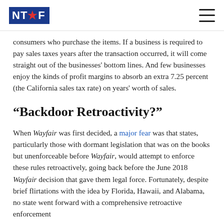NTUF logo and navigation
consumers who purchase the items. If a business is required to pay sales taxes years after the transaction occurred, it will come straight out of the businesses' bottom lines. And few businesses enjoy the kinds of profit margins to absorb an extra 7.25 percent (the California sales tax rate) on years' worth of sales.
“Backdoor Retroactivity?”
When Wayfair was first decided, a major fear was that states, particularly those with dormant legislation that was on the books but unenforceable before Wayfair, would attempt to enforce these rules retroactively, going back before the June 2018 Wayfair decision that gave them legal force. Fortunately, despite brief flirtations with the idea by Florida, Hawaii, and Alabama, no state went forward with a comprehensive retroactive enforcement